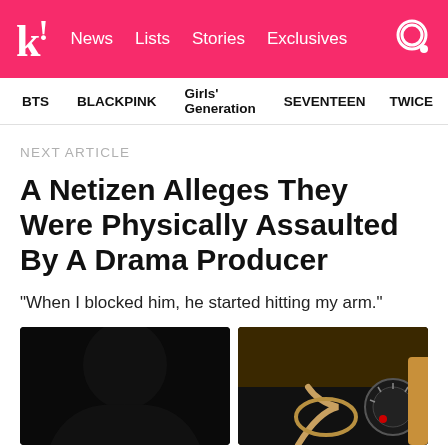k! News Lists Stories Exclusives
BTS BLACKPINK Girls' Generation SEVENTEEN TWICE
NEXT ARTICLE
A Netizen Alleges They Were Physically Assaulted By A Drama Producer
“When I blocked him, he started hitting my arm.”
[Figure (photo): Two images side by side: left shows a silhouetted/blurred person, right shows a car dashboard/steering wheel interior]